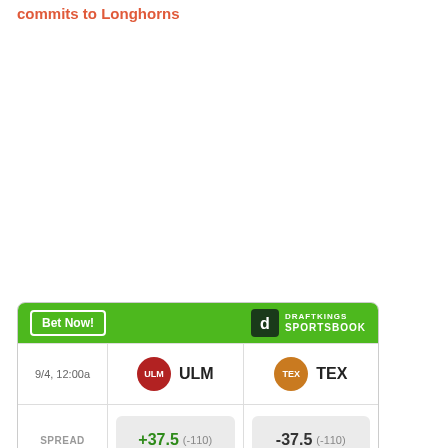commits to Longhorns
|  | ULM | TEX |
| --- | --- | --- |
| 9/4, 12:00a | ULM | TEX |
| SPREAD | +37.5 (-110) | -37.5 (-110) |